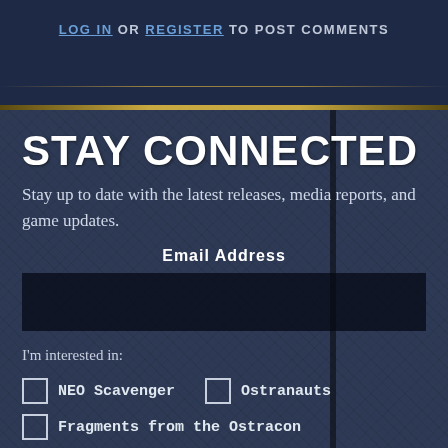LOG IN OR REGISTER TO POST COMMENTS
STAY CONNECTED
Stay up to date with the latest releases, media reports, and game updates.
Email Address
I'm interested in:
NEO Scavenger
Ostranauts
Fragments from the Ostracon